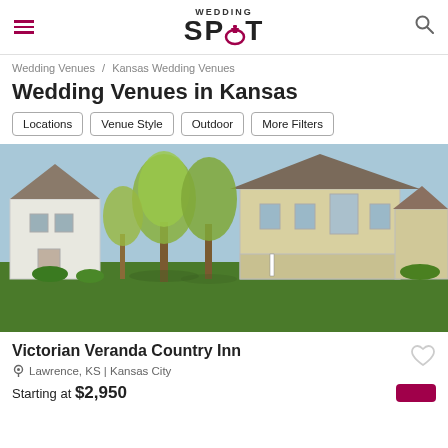Wedding Spot
Wedding Venues / Kansas Wedding Venues
Wedding Venues in Kansas
Locations
Venue Style
Outdoor
More Filters
[Figure (photo): Exterior photo of Victorian Veranda Country Inn showing white barn building and yellow mansion with large trees and green lawn]
Victorian Veranda Country Inn
Lawrence, KS | Kansas City
Starting at $2,950